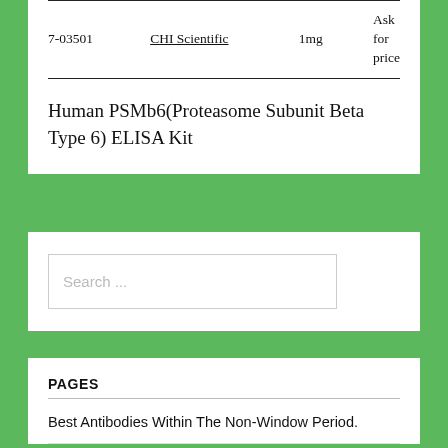|  |  |  |  |
| --- | --- | --- | --- |
| 7-03501 | CHI Scientific | 1mg | Ask for price |
Human PSMb6(Proteasome Subunit Beta Type 6) ELISA Kit
Search ...
PAGES
Best Antibodies Within The Non-Window Period.